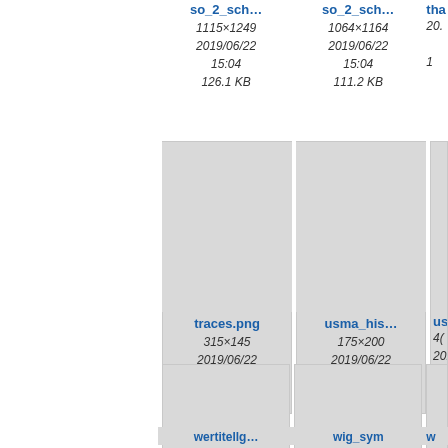[Figure (screenshot): File browser grid view showing image thumbnails with filenames, dimensions, dates, and file sizes. Row 1: so_2_sch... (1115x1249, 2019/06/22 15:04, 126.1 KB), so_2_sch... (1064x1164, 2019/06/22 15:04, 111.2 KB), tha... (partially visible). Row 2: traces.png (315x145, 2019/06/22 15:05, 50 KB), usma_his... (175x200, 2019/06/22 15:05, 38.1 KB), usm... (partially visible). Row 3: wertitellg... (partially visible), wig_sym (partially visible), w... (partially visible).]